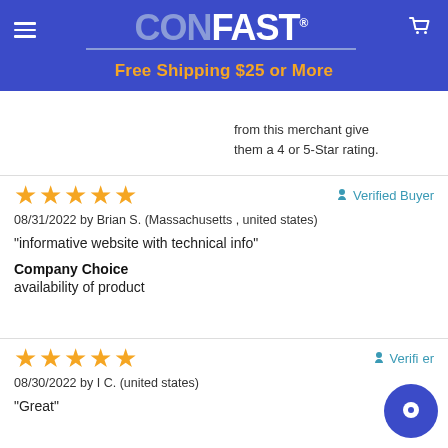CONFAST® — Free Shipping $25 or More
from this merchant give them a 4 or 5-Star rating.
★★★★★  Verified Buyer
08/31/2022 by Brian S. (Massachusetts , united states)
"informative website with technical info"
Company Choice
availability of product
★★★★★  Verified Buyer
08/30/2022 by I C. (united states)
"Great"